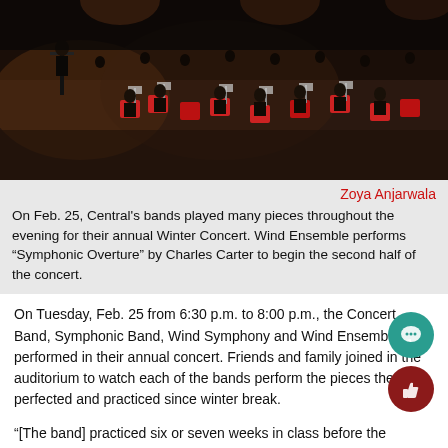[Figure (photo): Orchestra or concert band on stage with red chairs and music stands, viewed from above/side in dim stage lighting]
Zoya Anjarwala
On Feb. 25, Central's bands played many pieces throughout the evening for their annual Winter Concert. Wind Ensemble performs “Symphonic Overture” by Charles Carter to begin the second half of the concert.
On Tuesday, Feb. 25 from 6:30 p.m. to 8:00 p.m., the Concert Band, Symphonic Band, Wind Symphony and Wind Ensemble performed in their annual concert. Friends and family joined in the auditorium to watch each of the bands perform the pieces they perfected and practiced since winter break.
“[The band] practiced six or seven weeks in class before the concert,” said Matthew Kurinsky, band director.